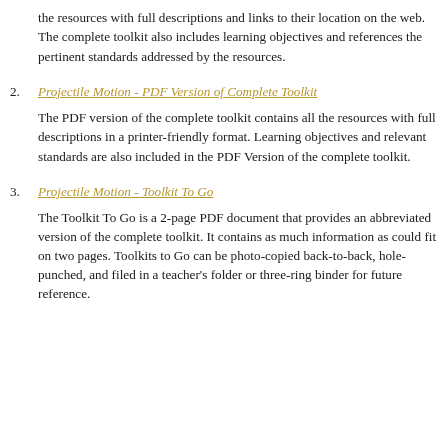the resources with full descriptions and links to their location on the web. The complete toolkit also includes learning objectives and references the pertinent standards addressed by the resources.
2. Projectile Motion - PDF Version of Complete Toolkit
The PDF version of the complete toolkit contains all the resources with full descriptions in a printer-friendly format. Learning objectives and relevant standards are also included in the PDF Version of the complete toolkit.
3. Projectile Motion - Toolkit To Go
The Toolkit To Go is a 2-page PDF document that provides an abbreviated version of the complete toolkit. It contains as much information as could fit on two pages. Toolkits to Go can be photo-copied back-to-back, hole-punched, and filed in a teacher's folder or three-ring binder for future reference.